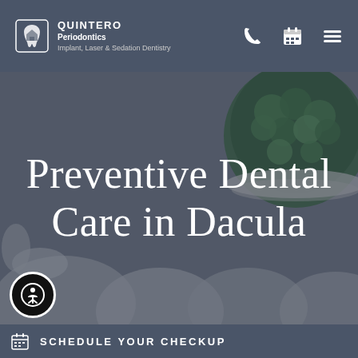QUINTERO Periodontics Implant, Laser & Sedation Dentistry
Preventive Dental Care in Dacula
[Figure (photo): Background photo of dental tooth models in grey and a bowl of green broccoli, with a dark semi-transparent overlay]
SCHEDULE YOUR CHECKUP